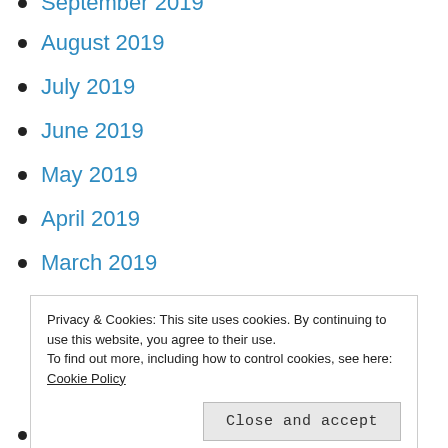September 2019
August 2019
July 2019
June 2019
May 2019
April 2019
March 2019
February 2019
January 2019
December 2018
November 2018
Privacy & Cookies: This site uses cookies. By continuing to use this website, you agree to their use.
To find out more, including how to control cookies, see here: Cookie Policy
February 2018